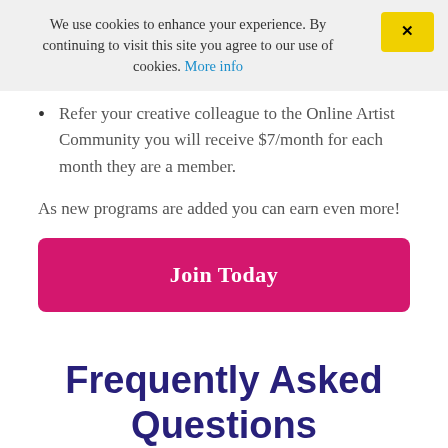We use cookies to enhance your experience. By continuing to visit this site you agree to our use of cookies. More info
Refer your creative colleague to the Online Artist Community you will receive $7/month for each month they are a member.
As new programs are added you can earn even more!
Join Today
Frequently Asked Questions